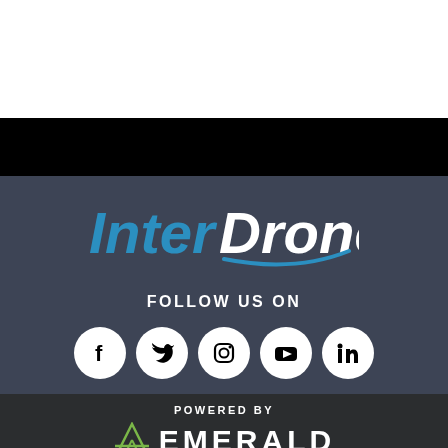[Figure (logo): InterDrone logo with blue italic 'Inter' and white italic 'Drone' text with a blue swoosh/arc underneath, on dark gray background]
FOLLOW US ON
[Figure (infographic): Five social media icons (Facebook, Twitter, Instagram, YouTube, LinkedIn) as white circles with black symbols]
POWERED BY
[Figure (logo): Emerald logo - green triangle/diamond shape with 'EMERALD' text in white letters]